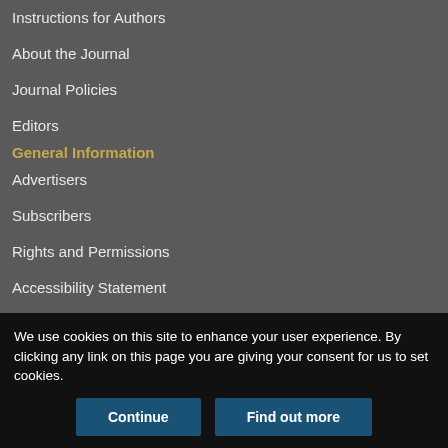Instructions for Authors
About the Journal
Journal Policies
Editors
General Information
Advertisers
Subscribers
Rights and Permissions
Accessibility Statement
FAR 889
Privacy Policy
Disclaimer
We use cookies on this site to enhance your user experience. By clicking any link on this page you are giving your consent for us to set cookies.
Continue | Find out more